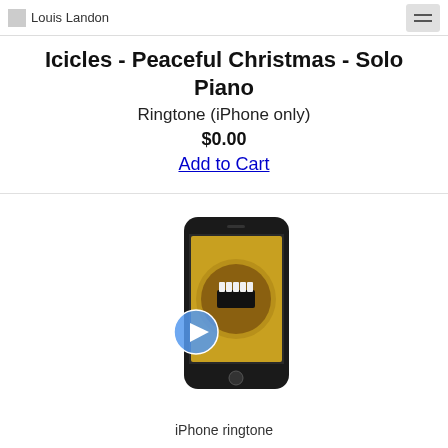Louis Landon
Icicles - Peaceful Christmas - Solo Piano
Ringtone (iPhone only)
$0.00
Add to Cart
[Figure (photo): iPhone ringtone preview image with play button overlay]
iPhone ringtone
Jingle Bells - Peaceful Christmas - Solo Piano
Ringtone (iPhone only)
$0.00
Add to Cart